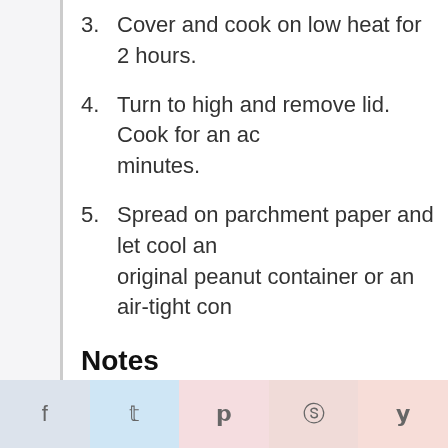3. Cover and cook on low heat for 2 hours.
4. Turn to high and remove lid. Cook for an additional minutes.
5. Spread on parchment paper and let cool and store in original peanut container or an air-tight container.
Notes
Margarine could be substituted for butter if desired.
f  t  p  (social)  (yummly)